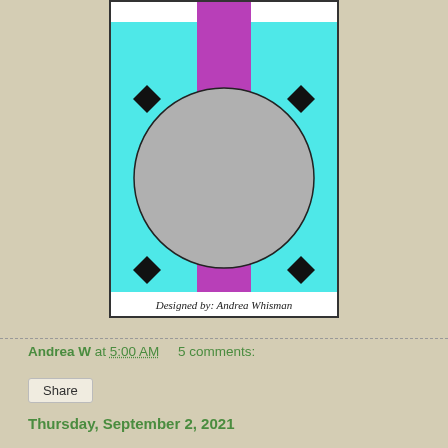[Figure (illustration): Card design sketch with cyan background, purple vertical stripe in center, gray circle in the middle, black diamond shapes in four corners, white rectangles at top corners, and text at bottom reading 'Designed by: Andrea Whisman']
Andrea W at 5:00 AM    5 comments:
Share
Thursday, September 2, 2021